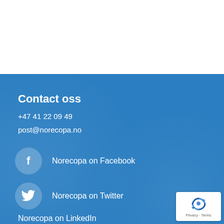Contact oss
+47 41 22 09 49
post@norecopa.no
Norecopa on Facebook
Norecopa on Twitter
Norecopa on LinkedIn
[Figure (logo): reCAPTCHA badge with Privacy and Terms text]